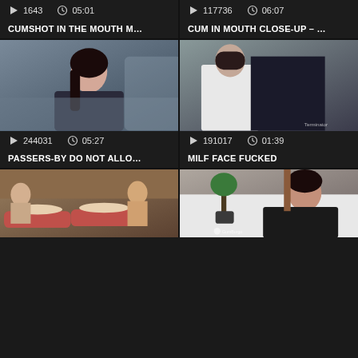[Figure (screenshot): Video thumbnail grid - top left card with play count 1643, duration 05:01, title CUMSHOT IN THE MOUTH M...]
[Figure (screenshot): Video thumbnail grid - top right card with play count 117736, duration 06:07, title CUM IN MOUTH CLOSE-UP - ...]
[Figure (screenshot): Video thumbnail - woman in car with dark hair, leather jacket]
[Figure (screenshot): Video thumbnail - person in white shirt, car interior]
244031   05:27   PASSERS-BY DO NOT ALLO...
191017   01:39   MILF FACE FUCKED
[Figure (screenshot): Video thumbnail - spa/massage scene with multiple people]
[Figure (screenshot): Video thumbnail - woman on bed in dark clothing, GumBurgo watermark]